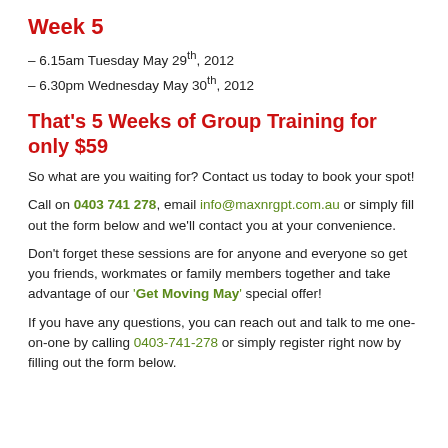Week 5
– 6.15am Tuesday May 29th, 2012
– 6.30pm Wednesday May 30th, 2012
That's 5 Weeks of Group Training for only $59
So what are you waiting for? Contact us today to book your spot!
Call on 0403 741 278, email info@maxnrgpt.com.au or simply fill out the form below and we'll contact you at your convenience.
Don't forget these sessions are for anyone and everyone so get you friends, workmates or family members together and take advantage of our 'Get Moving May' special offer!
If you have any questions, you can reach out and talk to me one-on-one by calling 0403-741-278 or simply register right now by filling out the form below.